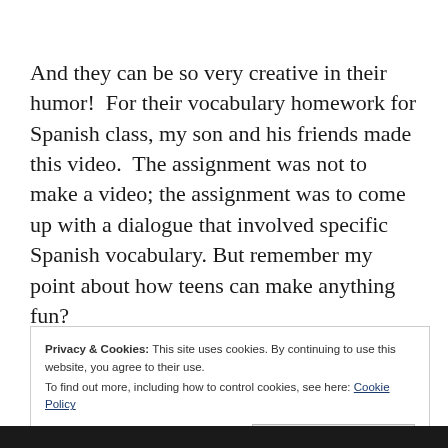And they can be so very creative in their humor!  For their vocabulary homework for Spanish class, my son and his friends made this video.  The assignment was not to make a video; the assignment was to come up with a dialogue that involved specific Spanish vocabulary. But remember my point about how teens can make anything fun?
Privacy & Cookies: This site uses cookies. By continuing to use this website, you agree to their use.
To find out more, including how to control cookies, see here: Cookie Policy